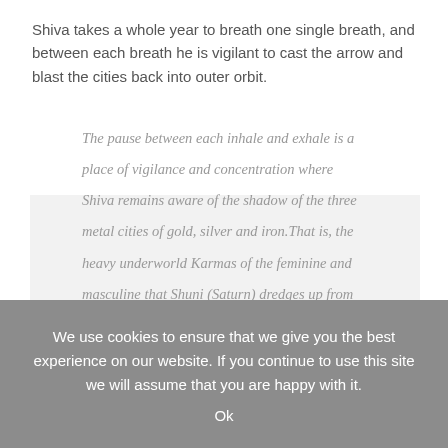Shiva takes a whole year to breath one single breath, and between each breath he is vigilant to cast the arrow and blast the cities back into outer orbit.
The pause between each inhale and exhale is a place of vigilance and concentration where Shiva remains aware of the shadow of the three metal cities of gold, silver and iron.That is, the heavy underworld Karmas of the feminine and masculine that Shuni (Saturn) dredges up from the unconscious feminine and the masculine poles.
We use cookies to ensure that we give you the best experience on our website. If you continue to use this site we will assume that you are happy with it.
Ok